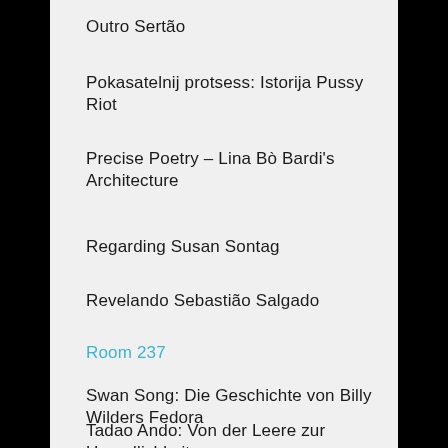Outro Sertão
Pokasatelnij protsess: Istorija Pussy Riot
Precise Poetry – Lina Bò Bardi's Architecture
Regarding Susan Sontag
Revelando Sebastião Salgado
Room 237
Swan Song: Die Geschichte von Billy Wilders Fedora
Tadao Ando: Von der Leere zur Unendlichkeit